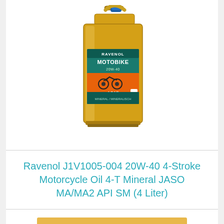[Figure (photo): Ravenol Motobike 20W-40 4-stroke motorcycle oil 4-liter golden plastic container with blue cap and orange/teal label showing a motorcycle rider]
Ravenol J1V1005-004 20W-40 4-Stroke Motorcycle Oil 4-T Mineral JASO MA/MA2 API SM (4 Liter)
Check Price on Amazon
Bestseller No. 10
[Figure (photo): Black motorcycle oil product container, partially visible at bottom of page]